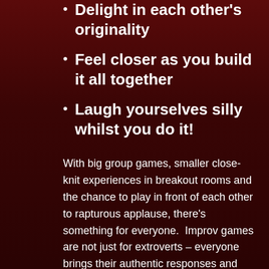Delight in each other's originality
Feel closer as you build it all together
Laugh yourselves silly whilst you do it!
With big group games, smaller close-knit experiences in breakout rooms and the chance to play in front of each other to rapturous applause, there's something for everyone.  Improv games are not just for extroverts – everyone brings their authentic responses and that's the fun. It's supportive, collaborative and